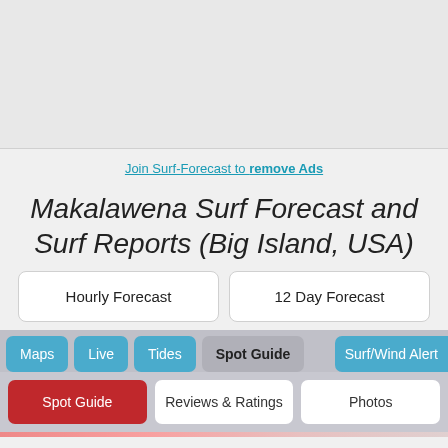[Figure (other): Advertisement/banner area at top of page]
Join Surf-Forecast to remove Ads
Makalawena Surf Forecast and Surf Reports (Big Island, USA)
Hourly Forecast
12 Day Forecast
Maps
Live
Tides
Spot Guide
Surf/Wind Alert
Spot Guide
Reviews & Ratings
Photos